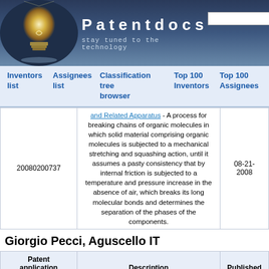[Figure (screenshot): Patentdocs website header with lightbulb logo, site title 'Patentdocs', tagline 'stay tuned to the technology', and search box with Search button]
Inventors list | Assignees list | Classification tree browser | Top 100 Inventors | Top 100 Assignees
| Patent application number | Description | Published |
| --- | --- | --- |
| 20080200737 | and Related Apparatus - A process for breaking chains of organic molecules in which solid material comprising organic molecules is subjected to a mechanical stretching and squashing action, until it assumes a pasty consistency that by internal friction is subjected to a temperature and pressure increase in the absence of air, which breaks its long molecular bonds and determines the separation of the phases of the components. | 08-21-2008 |
Giorgio Pecci, Aguscello IT
| Patent application number | Description | Published |
| --- | --- | --- |
|  | APPARATUS FOR CRACKING THE MOLECULAR STRUCTURE OF LONG CHAIN ORGANIC SUBSTANCES - An apparatus... |  |